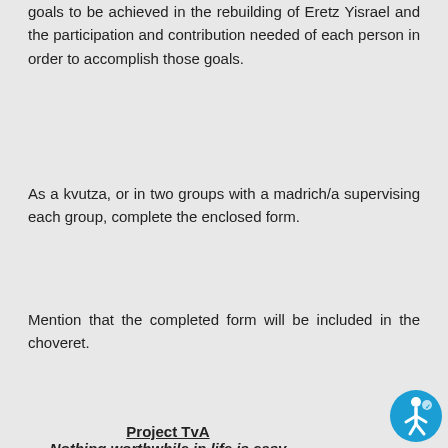goals to be achieved in the rebuilding of Eretz Yisrael and the participation and contribution needed of each person in order to accomplish those goals.
As a kvutza, or in two groups with a madrich/a supervising each group, complete the enclosed form.
Mention that the completed form will be included in the choveret.
Nothing worthwhile in life is easy
Project TvA